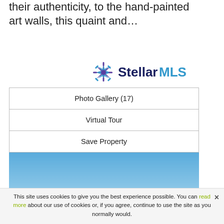their authenticity, to the hand-painted art walls, this quaint and…
[Figure (logo): Stellar MLS logo — blue/purple star icon with 'StellarMLS' text in dark blue]
| Photo Gallery (17) |
| Virtual Tour |
| Save Property |
| View Details |
[Figure (photo): Aerial/elevated view of a residential area with green trees and blue sky]
This site uses cookies to give you the best experience possible. You can read more about our use of cookies or, if you agree, continue to use the site as you normally would.